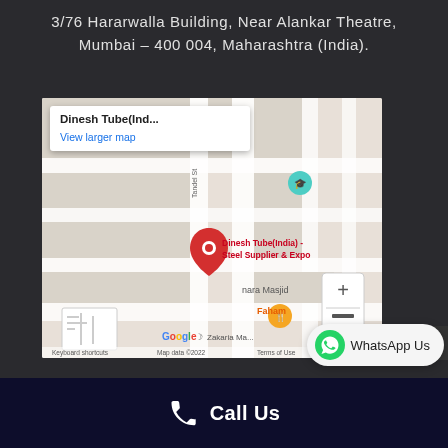3/76 Hararwalla Building, Near Alankar Theatre, Mumbai – 400 004, Maharashtra (India).
[Figure (map): Google Maps embed showing Dinesh Tube(India) - Steel Supplier & Exporter location near Alankar Theatre, Mumbai. Map shows surrounding streets including Tandel St, nearby landmarks like nara Masjid, Faham restaurant, and Zakaria Ma... Zoom controls visible.]
WhatsApp Us
Call Us